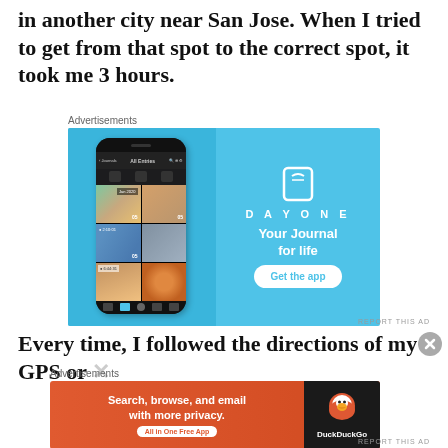in another city near San Jose. When I tried to get from that spot to the correct spot, it took me 3 hours.
Advertisements
[Figure (screenshot): DayOne app advertisement showing a smartphone with photo journal entries and the text 'DAYONE - Your Journal for life' with a 'Get the app' button on a blue background]
REPORT THIS AD
Every time, I followed the directions of my GPS or...
Advertisements
[Figure (screenshot): DuckDuckGo advertisement with orange background: 'Search, browse, and email with more privacy. All in One Free App' with DuckDuckGo logo on dark background]
REPORT THIS AD